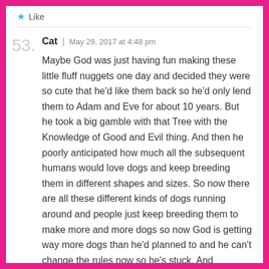Like
Cat | May 29, 2017 at 4:48 pm
Maybe God was just having fun making these little fluff nuggets one day and decided they were so cute that he'd like them back so he'd only lend them to Adam and Eve for about 10 years. But he took a big gamble with that Tree with the Knowledge of Good and Evil thing. And then he poorly anticipated how much all the subsequent humans would love dogs and keep breeding them in different shapes and sizes. So now there are all these different kinds of dogs running around and people just keep breeding them to make more and more dogs so now God is getting way more dogs than he'd planned to and he can't change the rules now so he's stuck. And